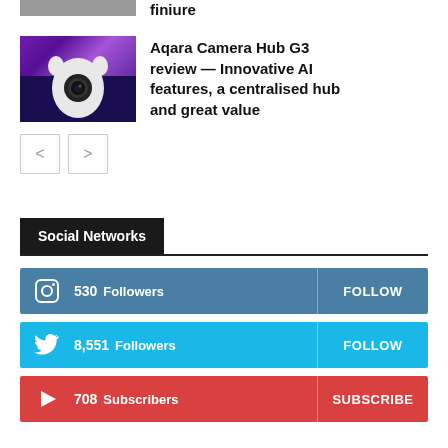[Figure (photo): Partial view of top article thumbnail (cropped at top of page)]
[Figure (photo): Aqara Camera Hub G3 device photo — robot-like white camera on dark blue/purple background]
Aqara Camera Hub G3 review — Innovative AI features, a centralised hub and great value
[Figure (other): Navigation previous/next buttons (< and >)]
Social Networks
530  Followers   FOLLOW
8,551  Followers   FOLLOW
708  Subscribers   SUBSCRIBE